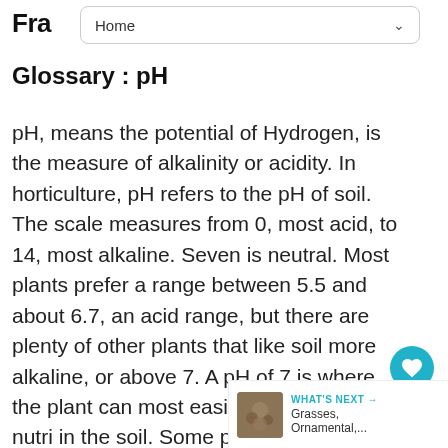Fra  Home
Glossary : pH
pH, means the potential of Hydrogen, is the measure of alkalinity or acidity. In horticulture, pH refers to the pH of soil. The scale measures from 0, most acid, to 14, most alkaline. Seven is neutral. Most plants prefer a range between 5.5 and about 6.7, an acid range, but there are plenty of other plants that like soil more alkaline, or above 7. A pH of 7 is where the plant can most easily absorb the most nutri in the soil. Some plants prefer more or less of certain nutrients, and therefore do b certain pH.